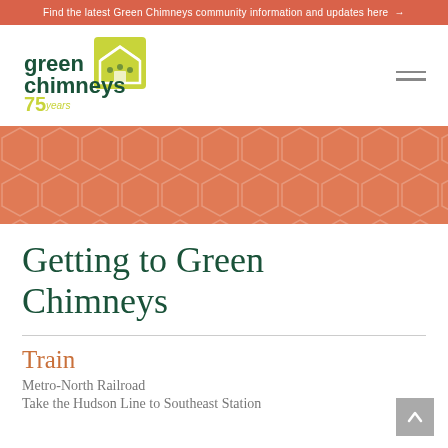Find the latest Green Chimneys community information and updates here →
[Figure (logo): Green Chimneys 75 years logo — green and yellow square icon with house and figures, text 'green chimneys 75 years']
[Figure (infographic): Orange salmon-colored hero banner with subtle hexagon pattern overlay]
Getting to Green Chimneys
Train
Metro-North Railroad
Take the Hudson Line to Southeast Station